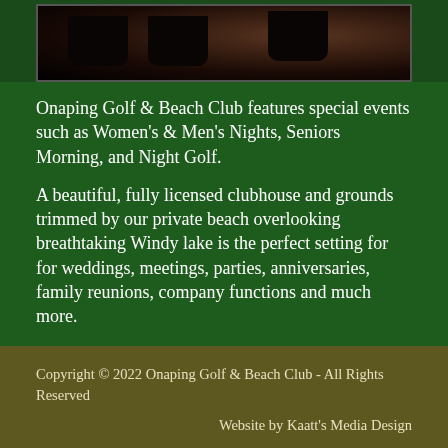[Figure (photo): Silhouette photo of trees against a dusky sky, dark tones with faint warm glow]
Onaping Golf & Beach Club features special events such as Women's & Men's Nights, Seniors Morning, and Night Golf.
A beautiful, fully licensed clubhouse and grounds trimmed by our private beach overlooking breathtaking Windy lake is the perfect setting for for weddings, meetings, parties, anniversaries, family reunions, company functions and much more.
Copyright © 2022 Onaping Golf & Beach Club - All Rights Reserved
Website by Kaatt's Media Design